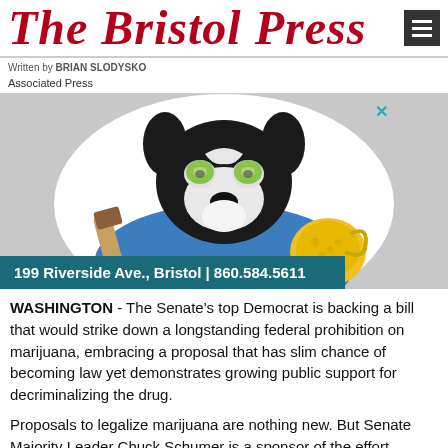The Bristol Press
Written by BRIAN SLODYSKO
Associated Press
[Figure (photo): A French Bulldog dressed in a blue spa robe, wearing cucumber slices on its head and eyes, holding a wooden brush and a yellow sponge. Below the image is a teal banner reading: 199 Riverside Ave., Bristol | 860.584.5611]
WASHINGTON - The Senate's top Democrat is backing a bill that would strike down a longstanding federal prohibition on marijuana, embracing a proposal that has slim chance of becoming law yet demonstrates growing public support for decriminalizing the drug.
Proposals to legalize marijuana are nothing new. But Senate Majority Leader Chuck Schumer is a sponsor of the effort unveiled Wednesday